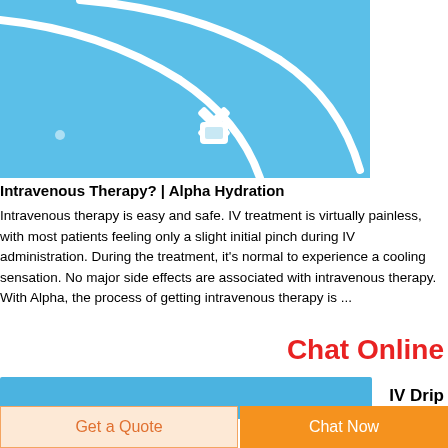[Figure (photo): IV drip tubing and connector on a blue background]
Intravenous Therapy? | Alpha Hydration
Intravenous therapy is easy and safe. IV treatment is virtually painless, with most patients feeling only a slight initial pinch during IV administration. During the treatment, it’s normal to experience a cooling sensation. No major side effects are associated with intravenous therapy. With Alpha, the process of getting intravenous therapy is ...
Chat Online
[Figure (photo): Blue bar with IV Drip label]
Get a Quote
Chat Now